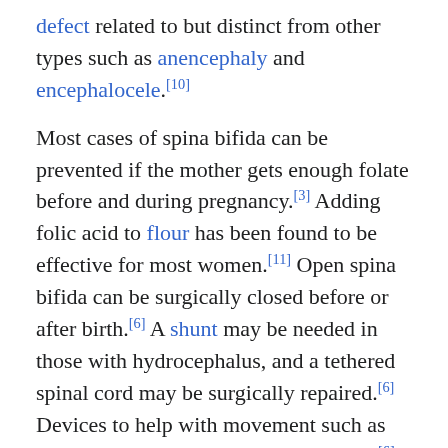defect related to but distinct from other types such as anencephaly and encephalocele.[10]
Most cases of spina bifida can be prevented if the mother gets enough folate before and during pregnancy.[3] Adding folic acid to flour has been found to be effective for most women.[11] Open spina bifida can be surgically closed before or after birth.[6] A shunt may be needed in those with hydrocephalus, and a tethered spinal cord may be surgically repaired.[6] Devices to help with movement such as crutches or wheelchairs may be useful.[6] Urinary catheterization may also be needed.[6]
About 15% of people have spina bifida occulta.[8] Rates of other types of spina bifida vary significantly by country, from 0.1 to 5 per 1,000 births.[12] On average, in developed countries, including the United States, it occurs in about 0.4 per 1,000 births.[7][4][13] In India, it affects